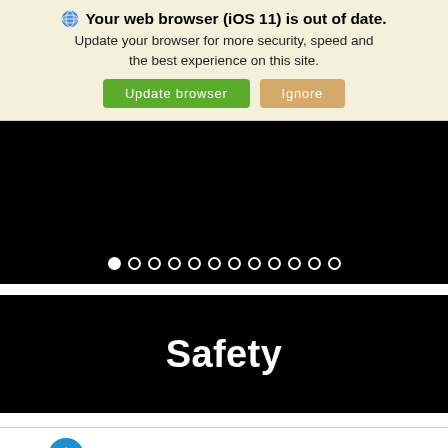Your web browser (iOS 11) is out of date. Update your browser for more security, speed and the best experience on this site. Update browser | Ignore
[Figure (screenshot): Black carousel/slideshow area with white pagination dots at the bottom. First dot is filled white (active), remaining 11 dots are outlines only.]
[Figure (screenshot): Black banner block with large white bold text reading 'Safety']
Accessibility icon | Search | Contact | Glovebox | Chat